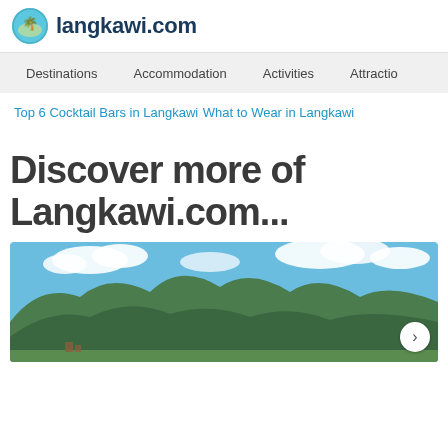langkawi.com
Destinations    Accommodation    Activities    Attractio
Top 6 Cocktail Bars in Langkawi
What to Wear in Langkawi
Discover more of Langkawi.com...
[Figure (photo): Tropical green mountain range under a blue sky with white clouds, Langkawi island scenery]